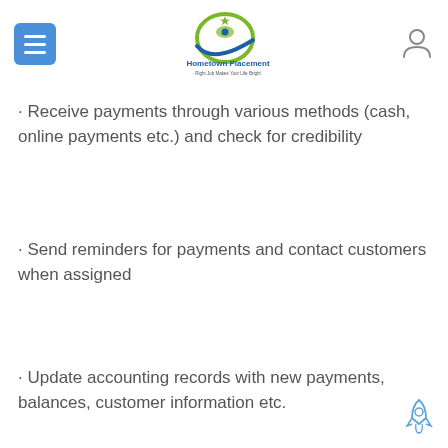[Figure (logo): Hometown Placement logo with tagline 'Right Job Makes Your Life Bright']
· Receive payments through various methods (cash, online payments etc.) and check for credibility
· Send reminders for payments and contact customers when assigned
· Update accounting records with new payments, balances, customer information etc.